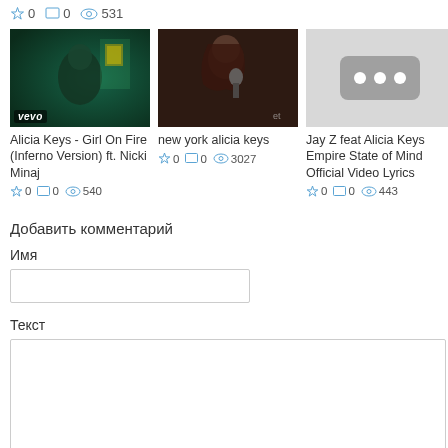☆ 0  □ 0  👁 531
[Figure (screenshot): Thumbnail of Alicia Keys - Girl On Fire (Inferno Version) ft. Nicki Minaj music video, dark teal tones, vevo badge]
Alicia Keys - Girl On Fire (Inferno Version) ft. Nicki Minaj
☆ 0  □ 0  👁 540
[Figure (screenshot): Thumbnail of new york alicia keys, woman singing into microphone]
new york alicia keys
☆ 0  □ 0  👁 3027
[Figure (screenshot): Thumbnail placeholder with three dots icon, gray background]
Jay Z feat Alicia Keys Empire State of Mind Official Video Lyrics
☆ 0  □ 0  👁 443
Добавить комментарий
Имя
Текст